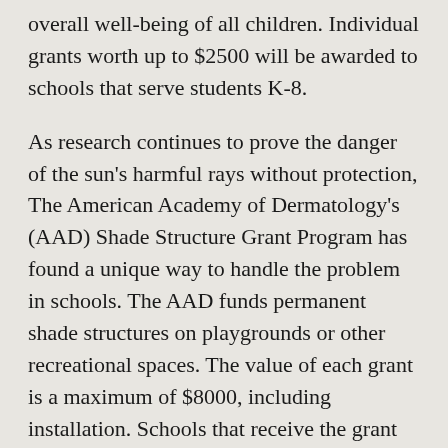overall well-being of all children. Individual grants worth up to $2500 will be awarded to schools that serve students K-8.
As research continues to prove the danger of the sun's harmful rays without protection, The American Academy of Dermatology's (AAD) Shade Structure Grant Program has found a unique way to handle the problem in schools. The AAD funds permanent shade structures on playgrounds or other recreational spaces. The value of each grant is a maximum of $8000, including installation. Schools that receive the grant have the benefit of knowing there children are protected even during recreational time.
As difficult as it is to fund classroom materials, it is even harder to find money for outdoor improvements. Lowe's Toolbox for Education Grants is worth $5000 to more than 1,000 schools interested in landscaping